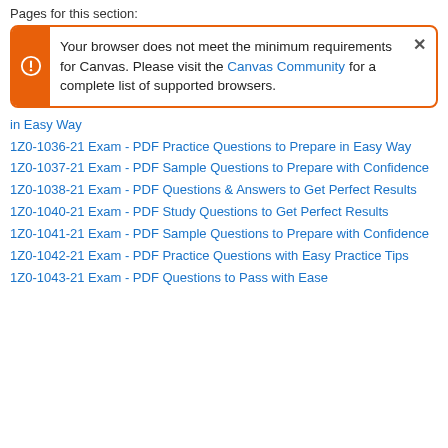Pages for this section:
Your browser does not meet the minimum requirements for Canvas. Please visit the Canvas Community for a complete list of supported browsers.
in Easy Way
1Z0-1036-21 Exam - PDF Practice Questions to Prepare in Easy Way
1Z0-1037-21 Exam - PDF Sample Questions to Prepare with Confidence
1Z0-1038-21 Exam - PDF Questions & Answers to Get Perfect Results
1Z0-1040-21 Exam - PDF Study Questions to Get Perfect Results
1Z0-1041-21 Exam - PDF Sample Questions to Prepare with Confidence
1Z0-1042-21 Exam - PDF Practice Questions with Easy Practice Tips
1Z0-1043-21 Exam - PDF Questions to Pass with Ease